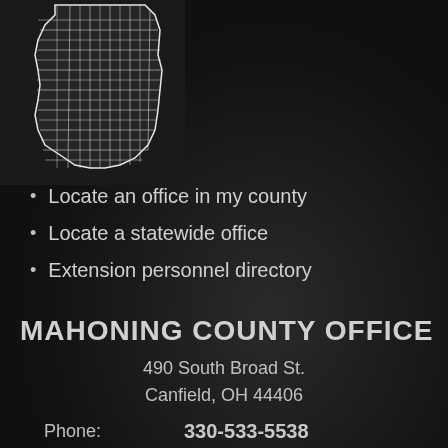[Figure (map): Outline map of Ohio counties with county boundaries shown in white lines on dark background, upper-left corner]
Locate an office in my county
Locate a statewide office
Extension personnel directory
MAHONING COUNTY OFFICE
490 South Broad St.
Canfield, OH 44406
Phone: 330-533-5538